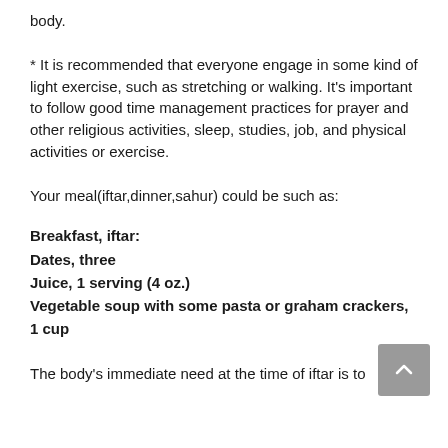body.
* It is recommended that everyone engage in some kind of light exercise, such as stretching or walking. It's important to follow good time management practices for prayer and other religious activities, sleep, studies, job, and physical activities or exercise.
Your meal(iftar,dinner,sahur) could be such as:
Breakfast, iftar:
Dates, three
Juice, 1 serving (4 oz.)
Vegetable soup with some pasta or graham crackers, 1 cup
The body's immediate need at the time of iftar is to